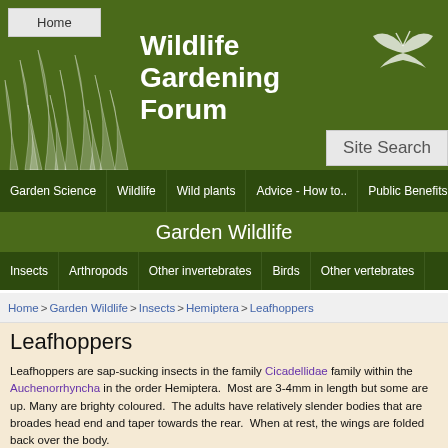Wildlife Gardening Forum
[Figure (screenshot): Website header with green banner, grass illustration, butterfly icon, Home button, site title 'Wildlife Gardening Forum', and Site Search box]
Home button
Garden Wildlife
Garden Science | Wildlife | Wild plants | Advice - How to.. | Public Benefits
Insects | Arthropods | Other invertebrates | Birds | Other vertebrates
Home > Garden Wildlife > Insects > Hemiptera > Leafhoppers
Leafhoppers
Leafhoppers are sap-sucking insects in the family Cicadellidae family within the Auchenorrhyncha in the order Hemiptera.  Most are 3-4mm in length but some are up. Many are brighty coloured.  The adults have relatively slender bodies that are broades head end and taper towards the rear.  When at rest, the wings are folded back over the body.